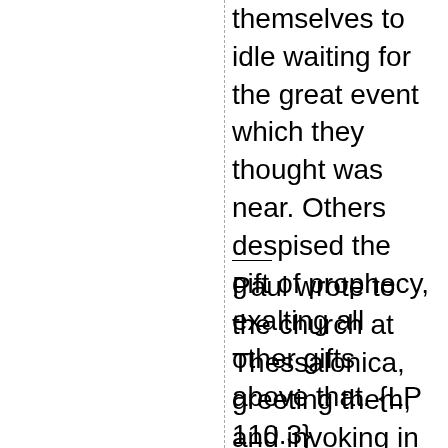themselves to idle waiting for the great event which they thought was near. Others despised the gift of prophecy, exalting all other gifts above that. {LP 110.3}
Paul wrote to the church at Thessalonica, greeting them, and invoking in their behalf the blessing of God and the Lord Jesus Christ. He reminded them of his own labors among them, and their acceptance of the word, turning away from idols “to serve the living and true God, and to wait for his Son from Heaven, whom he